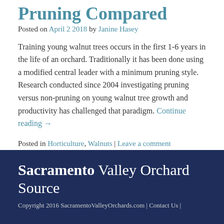Pruning Compared
Posted on April 2 2018 by Janine Hasey
Training young walnut trees occurs in the first 1-6 years in the life of an orchard. Traditionally it has been done using a modified central leader with a minimum pruning style. Research conducted since 2004 investigating pruning versus non-pruning on young walnut tree growth and productivity has challenged that paradigm. Continue reading →
Posted in Horticulture, Walnuts | Leave a comment
Sacramento Valley Orchard Source
Copyright 2016 SacramentoValleyOrchards.com | Contact Us |